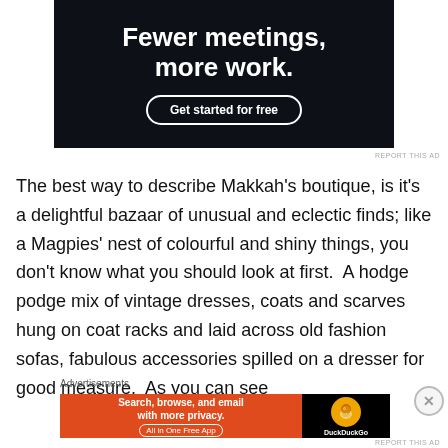[Figure (screenshot): Dark-background advertisement for a productivity tool. Bold white text reads 'Fewer meetings, more work.' with a 'Get started for free' button outlined in white.]
REPORT THIS AD
The best way to describe Makkah's boutique, is it's a delightful bazaar of unusual and eclectic finds; like a Magpies' nest of colourful and shiny things, you don't know what you should look at first.  A hodge podge mix of vintage dresses, coats and scarves hung on coat racks and laid across old fashion sofas, fabulous accessories spilled on a dresser for good measure.  As you can see
Advertisements
[Figure (screenshot): DuckDuckGo advertisement on orange and black background. Text: 'Search, browse, and email with more privacy. All in One Free App' with DuckDuckGo logo on dark right side.]
REPORT THIS AD